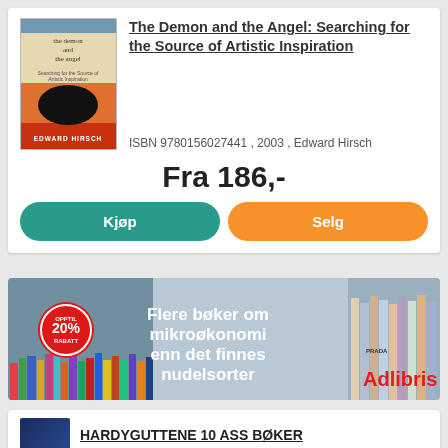The Demon and the Angel: Searching for the Source of Artistic Inspiration
ISBN 9780156027441 , 2003 , Edward Hirsch
Fra 186,-
Kjøp
Selg
[Figure (photo): Book cover for 'The Demon and the Angel' by Edward Hirsch]
[Figure (infographic): Adlibris advertisement banner: 'Flere bøker om mikroøkonomi enn det finnes nudelsorter' with OPPTIL 20% RABATT badge and stacked books imagery]
HARDYGUTTENE 10 ASS BØKER